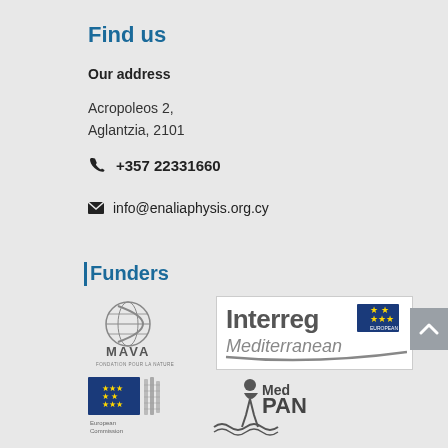Find us
Our address
Acropoleos 2,
Aglantzia, 2101
+357 22331660
info@enaliaphysis.org.cy
Funders
[Figure (logo): MAVA Fondation Pour La Nature logo - grayscale globe with swoosh and text]
[Figure (logo): Interreg Mediterranean logo with EU flag]
[Figure (logo): European Commission logo - grayscale]
[Figure (logo): MedPAN logo - figure with waves]